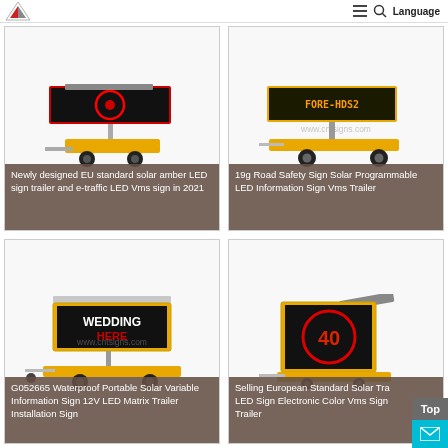Language
[Figure (photo): Newly designed EU standard solar amber LED sign trailer and e-traffic LED Vms sign in 2021 - product image]
Newly designed EU standard solar amber LED sign trailer and e-traffic LED Vms sign in 2021
[Figure (photo): 19g Road Safety Sign Solar Programmable LED Information Sign Vms Trailer - product image]
19g Road Safety Sign Solar Programmable LED Information Sign Vms Trailer
[Figure (photo): G052665 Waterproof Portable Solar Variable Information Sign 12V LED Matrix Trailer Installation Sign - product image with watermark www.cntsigns.com]
G052665 Waterproof Portable Solar Variable Information Sign 12V LED Matrix Trailer Installation Sign
[Figure (photo): Selling European Standard Solar Tra LED Sign Electronic Color Vms Sign Trailer - product image]
Selling European Standard Solar Tra LED Sign Electronic Color Vms Sign Trailer